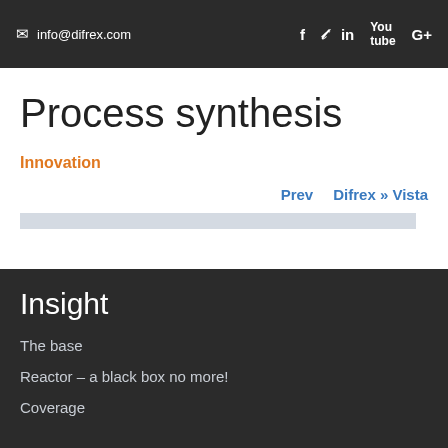info@difrex.com  f  in  yt  G+
Process synthesis
Innovation
Prev    Difrex » Vista
Insight
The base
Reactor – a black box no more!
Coverage